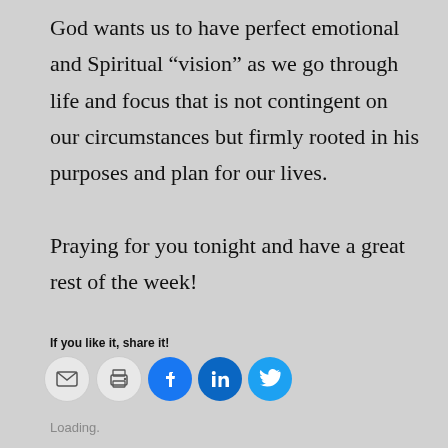God wants us to have perfect emotional and Spiritual “vision” as we go through life and focus that is not contingent on our circumstances but firmly rooted in his purposes and plan for our lives.

Praying for you tonight and have a great rest of the week!
If you like it, share it!
[Figure (infographic): Five social share buttons: email (envelope icon, light gray), print (printer icon, light gray), Facebook (f icon, blue), LinkedIn (in icon, dark blue), Twitter (bird icon, light blue)]
Loading.